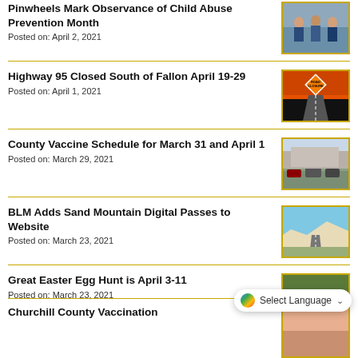Pinwheels Mark Observance of Child Abuse Prevention Month
Posted on: April 2, 2021
[Figure (photo): Group of people posing indoors]
Highway 95 Closed South of Fallon April 19-29
Posted on: April 1, 2021
[Figure (photo): Road closure sign graphic with orange and black theme]
County Vaccine Schedule for March 31 and April 1
Posted on: March 29, 2021
[Figure (photo): Cars lined up at a vaccine drive-through]
BLM Adds Sand Mountain Digital Passes to Website
Posted on: March 23, 2021
[Figure (photo): Road leading to sand mountain under blue sky]
Great Easter Egg Hunt is April 3-11
Posted on: March 23, 2021
[Figure (photo): Easter eggs in grass]
Select Language
Churchill County Vaccination